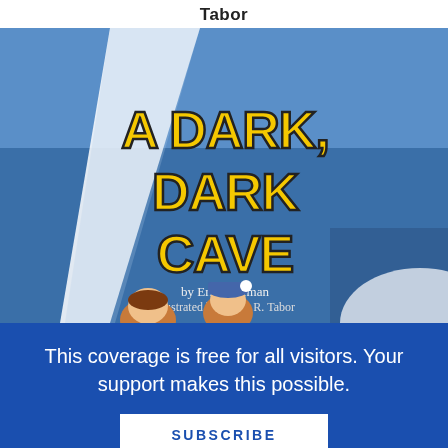Tabor
[Figure (illustration): Book cover of 'A Dark, Dark Cave' by Eric Hoffman, illustrated by Corey R. Tabor. Yellow bold title text on a dark blue background with children peeking in at the bottom and a white triangular cave opening on the left.]
This coverage is free for all visitors. Your support makes this possible.
SUBSCRIBE